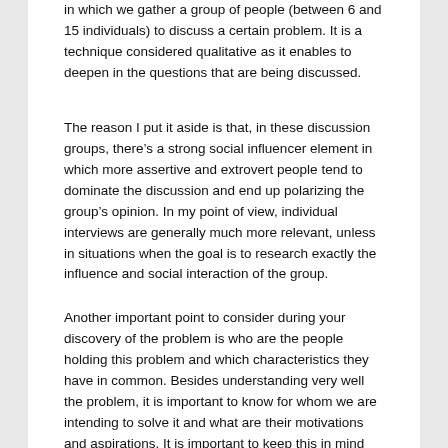in which we gather a group of people (between 6 and 15 individuals) to discuss a certain problem. It is a technique considered qualitative as it enables to deepen in the questions that are being discussed.
The reason I put it aside is that, in these discussion groups, there's a strong social influencer element in which more assertive and extrovert people tend to dominate the discussion and end up polarizing the group's opinion. In my point of view, individual interviews are generally much more relevant, unless in situations when the goal is to research exactly the influence and social interaction of the group.
Another important point to consider during your discovery of the problem is who are the people holding this problem and which characteristics they have in common. Besides understanding very well the problem, it is important to know for whom we are intending to solve it and what are their motivations and aspirations. It is important to keep this in mind during the process of discovering the problem.